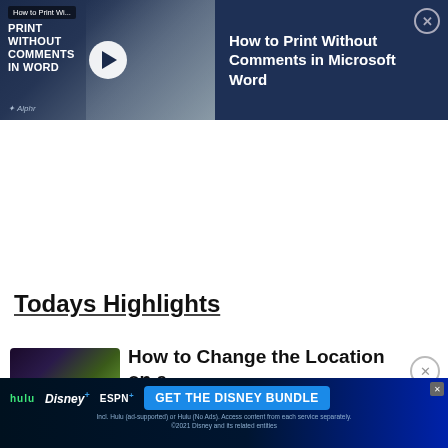[Figure (screenshot): Video thumbnail/banner for 'How to Print Without Comments in Microsoft Word' article with dark navy background, play button, and Alphr logo on the left; article title and close button on the right dark panel]
Todays Highlights
[Figure (photo): Thumbnail image of a tablet device with colorful streaming content interface]
How to Change the Location on a
[Figure (screenshot): Disney bundle advertisement banner with Hulu, Disney+, ESPN+ logos and 'GET THE DISNEY BUNDLE' call-to-action button]